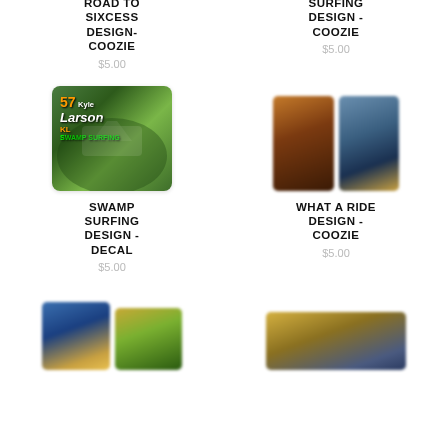ROAD TO SIXCESS DESIGN- COOZIE
$5.00
SURFING DESIGN - COOZIE
$5.00
[Figure (photo): Swamp Surfing Larson #57 decal sticker with race car and green swamp surfing text]
[Figure (photo): Two coozies side by side, one brown/dark and one blue/multi-colored]
SWAMP SURFING DESIGN - DECAL
$5.00
WHAT A RIDE DESIGN - COOZIE
$5.00
[Figure (photo): Two coozies side by side, blue and multi-colored, partially cut off at bottom]
[Figure (photo): Two coozies side by side, gold/yellow and green toned, partially cut off at bottom]